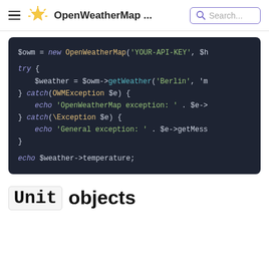OpenWeatherMap ... Search...
[Figure (screenshot): Dark-themed PHP code block showing OpenWeatherMap API usage with try/catch blocks and echo statement]
Unit objects